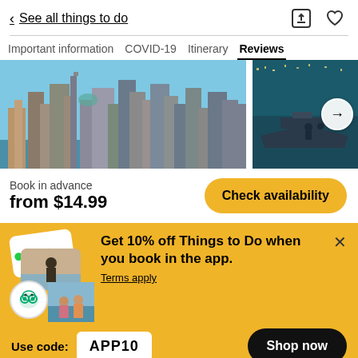< See all things to do
Important information  COVID-19  Itinerary  Reviews
[Figure (photo): Aerial photo of New York City skyline on left, and a water/boat scene on the right, with a right-arrow navigation button]
Book in advance
from $14.99
Check availability
Get 10% off Things to Do when you book in the app.
Terms apply
Use code: APP10
Shop now